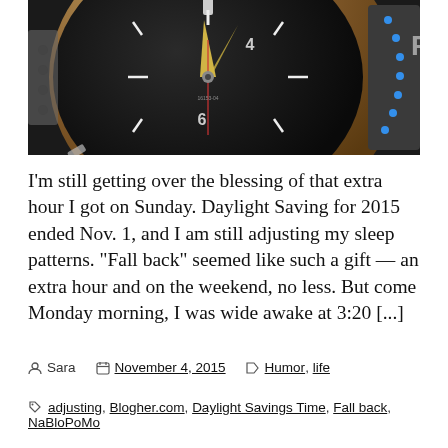[Figure (photo): Close-up photograph of a luxury watch face with dark dial, luminous hour markers, blue dot bezel, and metallic case edge. Numbers 6 and 4 visible on dial.]
I'm still getting over the blessing of that extra hour I got on Sunday. Daylight Saving for 2015 ended Nov. 1, and I am still adjusting my sleep patterns. “Fall back” seemed like such a gift — an extra hour and on the weekend, no less. But come Monday morning, I was wide awake at 3:20 [...]
Sara  November 4, 2015  Humor, life
adjusting, Blogher.com, Daylight Savings Time, Fall back, NaBloPoMo